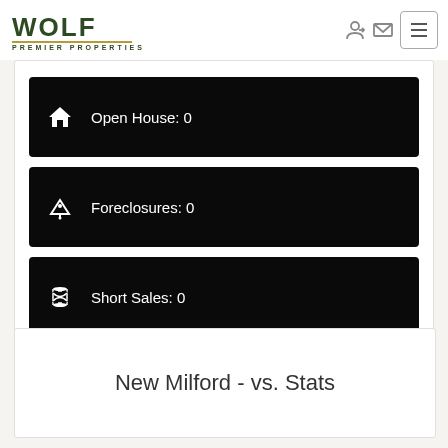WOLF PREMIER PROPERTIES
Open House: 0
Foreclosures: 0
Short Sales: 0
New Milford - vs. Stats